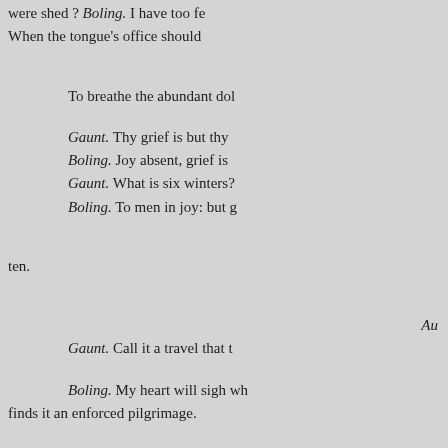were shed ? Boling. I have too fe
When the tongue's office should
To breathe the abundant dol
Gaunt. Thy grief is but thy
Boling. Joy absent, grief is
Gaunt. What is six winters?
Boling. To men in joy: but g
ten.
Au
Gaunt. Call it a travel that t
Boling. My heart will sigh wh
finds it an enforced pilgrimage.
To counterfeit oppression of s
That words seem'd buried in m
Marry, would the word farewel
Boling. Nay, rather, ever